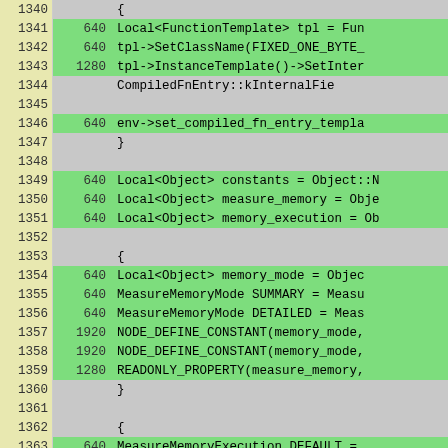[Figure (screenshot): Source code viewer showing lines 1340-1366 with line numbers, execution counts, and code content. Lines with counts are highlighted green, empty-count lines are gray background.]